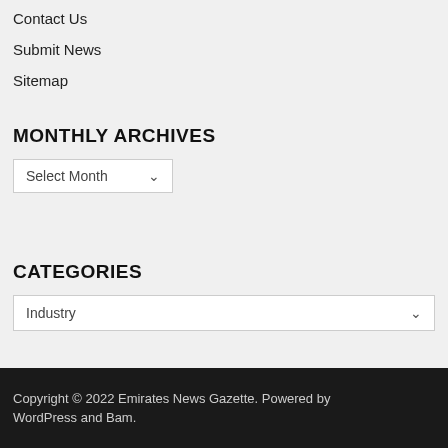Contact Us
Submit News
Sitemap
MONTHLY ARCHIVES
Select Month
CATEGORIES
Industry
Copyright © 2022 Emirates News Gazette. Powered by WordPress and Bam.